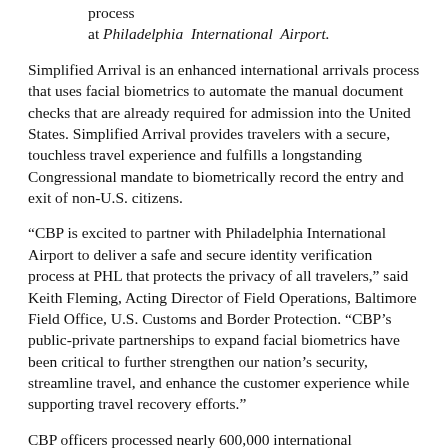process
at Philadelphia International Airport.
Simplified Arrival is an enhanced international arrivals process that uses facial biometrics to automate the manual document checks that are already required for admission into the United States. Simplified Arrival provides travelers with a secure, touchless travel experience and fulfills a longstanding Congressional mandate to biometrically record the entry and exit of non-U.S. citizens.
“CBP is excited to partner with Philadelphia International Airport to deliver a safe and secure identity verification process at PHL that protects the privacy of all travelers,” said Keith Fleming, Acting Director of Field Operations, Baltimore Field Office, U.S. Customs and Border Protection. “CBP’s public-private partnerships to expand facial biometrics have been critical to further strengthen our nation’s security, streamline travel, and enhance the customer experience while supporting travel recovery efforts.”
CBP officers processed nearly 600,000 international